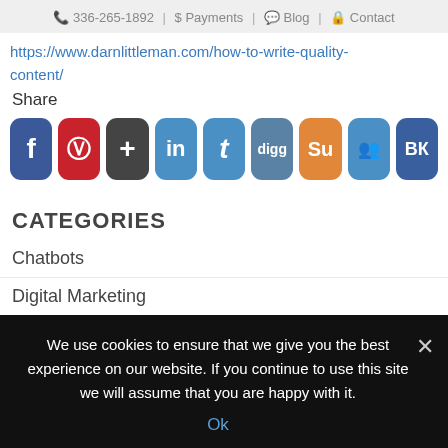336-265-1892 | $Payments | Blog | Contact
https://www.darnlittleman.com/how-to-write-quality-content/
Share
[Figure (other): Row of social media share buttons: Facebook, Pinterest, Google+, LinkedIn, Tumblr, Digg, StumbleUpon, Myspace, VK]
CATEGORIES
Chatbots
Digital Marketing
Engaging Web Design
Online Reviews
We use cookies to ensure that we give you the best experience on our website. If you continue to use this site we will assume that you are happy with it.
Ok